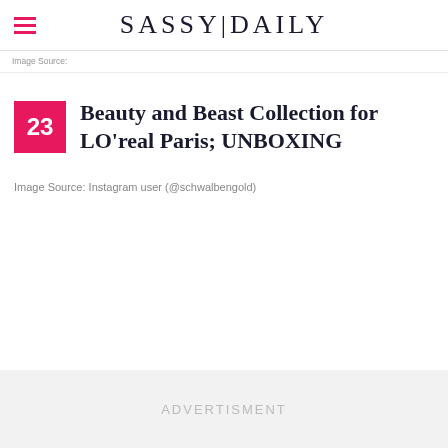SASSY|DAILY
Image Source:
Beauty and Beast Collection for LO'real Paris; UNBOXING
Image Source: Instagram user (@schwalbengold)
ADVERTISMENT